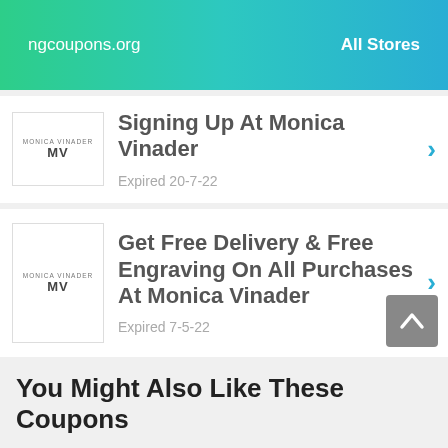ngcoupons.org   All Stores
Signing Up At Monica Vinader
Expired 20-7-22
Get Free Delivery & Free Engraving On All Purchases At Monica Vinader
Expired 7-5-22
You Might Also Like These Coupons